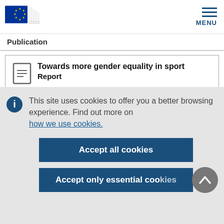European Commission header with logo and MENU
Publication
Towards more gender equality in sport
Report
This site uses cookies to offer you a better browsing experience. Find out more on how we use cookies.
Accept all cookies
Accept only essential cookies